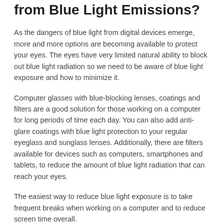from Blue Light Emissions?
As the dangers of blue light from digital devices emerge, more and more options are becoming available to protect your eyes. The eyes have very limited natural ability to block out blue light radiation so we need to be aware of blue light exposure and how to minimize it.
Computer glasses with blue-blocking lenses, coatings and filters are a good solution for those working on a computer for long periods of time each day. You can also add anti-glare coatings with blue light protection to your regular eyeglass and sunglass lenses. Additionally, there are filters available for devices such as computers, smartphones and tablets, to reduce the amount of blue light radiation that can reach your eyes.
The easiest way to reduce blue light exposure is to take frequent breaks when working on a computer and to reduce screen time overall.